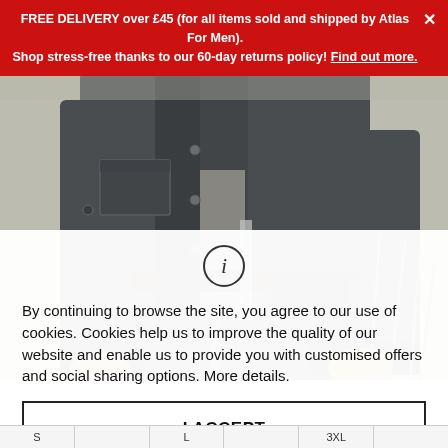FREE DELIVERY over £45 (for all items sold and shipped by Atlas For Men). Shop stress-free thanks to our 60-day returns policy! Find out more.
[Figure (photo): Close-up photo of a man wearing a dark grey jacket/coat with pockets, belt, and jeans, standing outdoors with a pale background.]
By continuing to browse the site, you agree to our use of cookies. Cookies help us to improve the quality of our website and enable us to provide you with customised offers and social sharing options. More details.
I ACCEPT